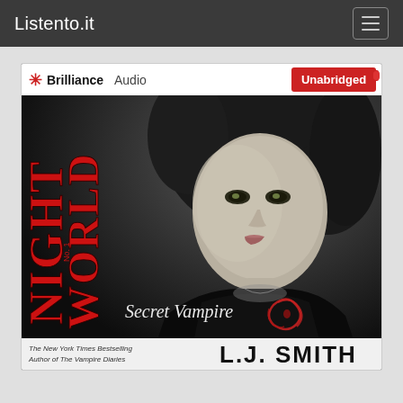Listento.it
[Figure (photo): Book cover for 'Night World No. 1: Secret Vampire' by L.J. Smith, published by Brilliance Audio. Unabridged edition. Shows a young woman with curly dark hair against a dark background. The title 'Night World' appears vertically on the left in red gothic lettering, 'Secret Vampire' appears in script near the bottom center. Bottom text reads: The New York Times Bestselling Author of The Vampire Diaries — L.J. SMITH]